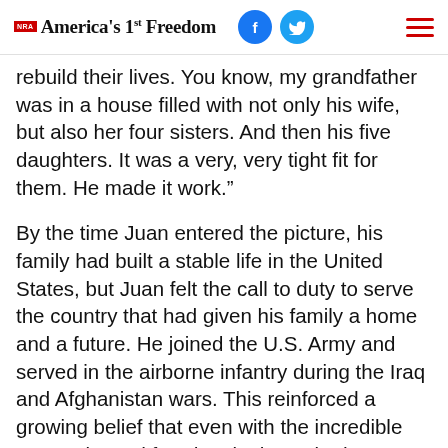NRA America's 1st Freedom
rebuild their lives. You know, my grandfather was in a house filled with not only his wife, but also her four sisters. And then his five daughters. It was a very, very tight fit for them. He made it work.”
By the time Juan entered the picture, his family had built a stable life in the United States, but Juan felt the call to duty to serve the country that had given his family a home and a future. He joined the U.S. Army and served in the airborne infantry during the Iraq and Afghanistan wars. This reinforced a growing belief that even with the incredible prosperity and freedom in the United States, he had a responsibility to protect himself. After leaving the military, Juan started exploring the firearms industry and